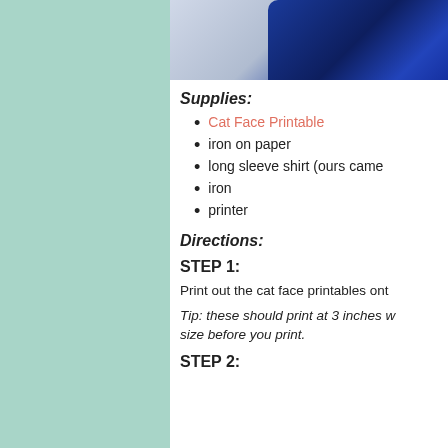[Figure (photo): Photo of a person wearing a dark navy/blue jacket with a brown/tan collar or hat visible at top, against a light background]
Supplies:
Cat Face Printable
iron on paper
long sleeve shirt (ours came
iron
printer
Directions:
STEP 1:
Print out the cat face printables ont
Tip: these should print at 3 inches w size before you print.
STEP 2: